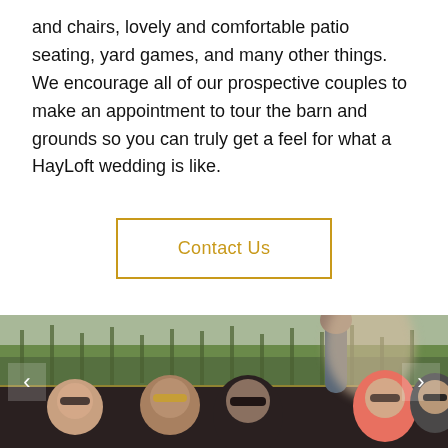and chairs, lovely and comfortable patio seating, yard games, and many other things. We encourage all of our prospective couples to make an appointment to tour the barn and grounds so you can truly get a feel for what a HayLoft wedding is like.
Contact Us
[Figure (photo): Outdoor photo of a group of people sitting on what appears to be a wagon or trailer ride, with a cornfield in the background. Several people are wearing sunglasses and smiling. One person has their hand raised. Navigation arrows on left and right sides of the image.]